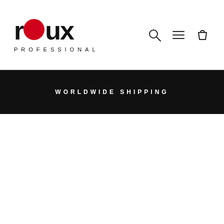[Figure (logo): Roux Professional logo: stylized lowercase 'roux' with a red circle replacing the letter 'o', and 'PROFESSIONAL' in spaced capitals beneath]
[Figure (infographic): Navigation icons: search (magnifying glass), hamburger menu (three horizontal lines), shopping bag]
WORLDWIDE SHIPPING